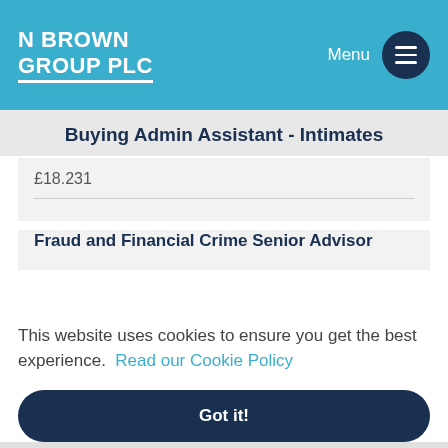N BROWN GROUP PLC
Buying Admin Assistant - Intimates
£18.231
Fraud and Financial Crime Senior Advisor
This website uses cookies to ensure you get the best experience. Read our Cookie Policy
Got it!